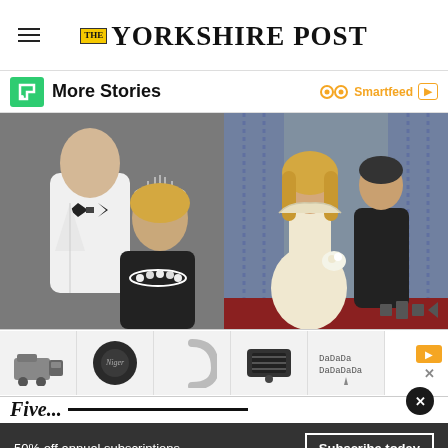THE YORKSHIRE POST
More Stories
Smartfeed
[Figure (photo): Two prom/formal photos side by side: left is a black-and-white photo of a young man in a tuxedo with bow tie and a young woman wearing a tiara and dark top with floral lei; right is a color photo of a couple in formal wear standing in front of blue curtains.]
[Figure (photo): Advertisement banner showing various auto parts and accessories including car parts, a logo disc, curved trim, a car light/grille, decorative lettering, and a winged emblem.]
50% off annual subscriptions
Subscribe today